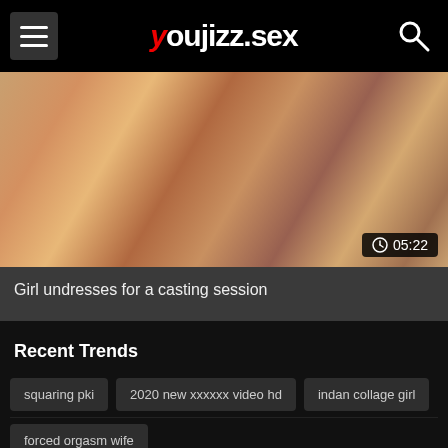youjizz.sex
[Figure (photo): Video thumbnail showing adult content with duration overlay 05:22]
Girl undresses for a casting session
Recent Trends
squaring pki
2020 new xxxxxx video hd
indan collage girl
forced orgasm wife
sunny leone romantic kissing and fucking video
rias gremory xxx video highschool dxd
book face